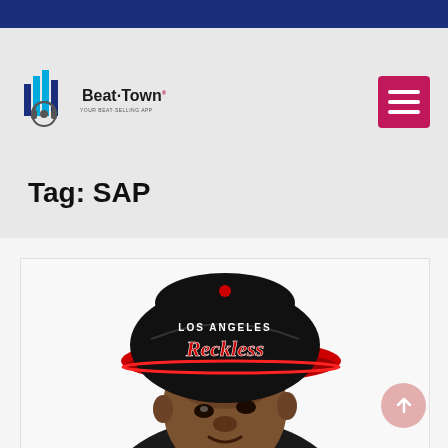Beat-Town
Tag: SAP
[Figure (photo): A man wearing a black and red Los Angeles Reckless snapback cap, looking upward, close-up portrait photo against a white background.]